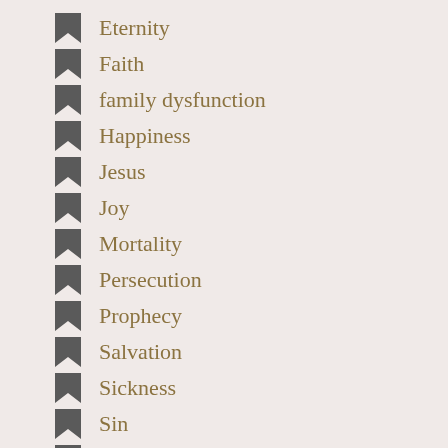Eternity
Faith
family dysfunction
Happiness
Jesus
Joy
Mortality
Persecution
Prophecy
Salvation
Sickness
Sin
Sorrow
Suffering